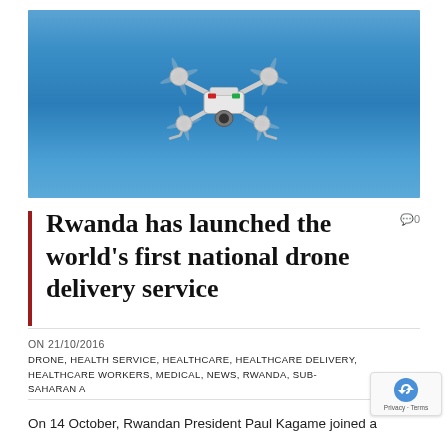[Figure (photo): Drone/quadcopter flying against a clear blue sky, photographed from below]
Rwanda has launched the world's first national drone delivery service
ON 21/10/2016
DRONE, HEALTH SERVICE, HEALTHCARE, HEALTHCARE DELIVERY, HEALTHCARE WORKERS, MEDICAL, NEWS, RWANDA, SUB-SAHARAN A
On 14 October, Rwandan President Paul Kagame joined a